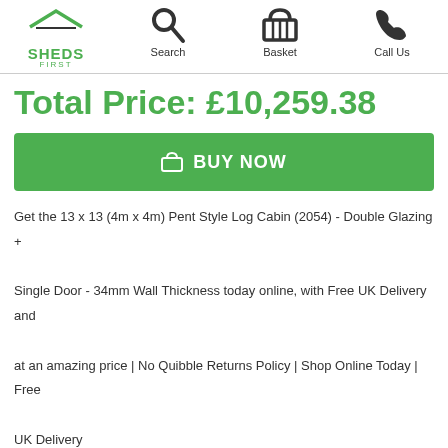Home | Search | Basket | Call Us
Total Price: £10,259.38
[Figure (other): BUY NOW button with shopping cart icon]
Get the 13 x 13 (4m x 4m) Pent Style Log Cabin (2054) - Double Glazing + Single Door - 34mm Wall Thickness today online, with Free UK Delivery and at an amazing price | No Quibble Returns Policy | Shop Online Today | Free UK Delivery